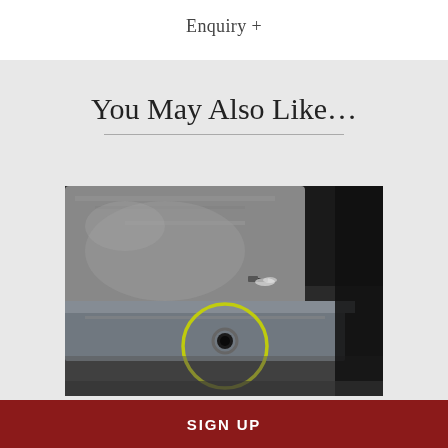Enquiry +
You May Also Like…
[Figure (photo): Close-up photograph of a metal engine or mechanical component, grey cast metal surface with a highlighted circular area (yellow circle) around a small hole or port, possibly indicating a crack or defect area on the casting.]
SIGN UP